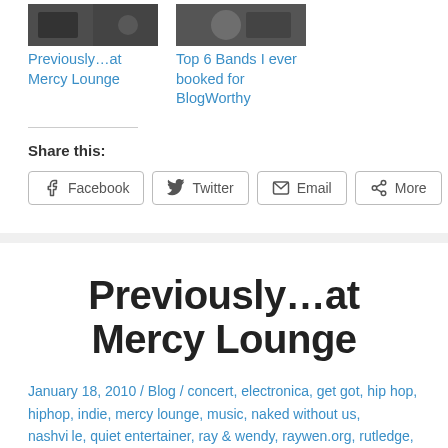[Figure (photo): Thumbnail image of Mercy Lounge venue interior]
[Figure (photo): Thumbnail image related to Top 6 Bands BlogWorthy post]
Previously…at Mercy Lounge
Top 6 Bands I ever booked for BlogWorthy
Share this:
Facebook
Twitter
Email
More
Previously…at Mercy Lounge
January 18, 2010 / Blog / concert, electronica, get got, hip hop, hiphop, indie, mercy lounge, music, naked without us, nashville, quiet entertainer, ray & wendy, raywen.org, rutledge, spice J, billy goats, the protomen